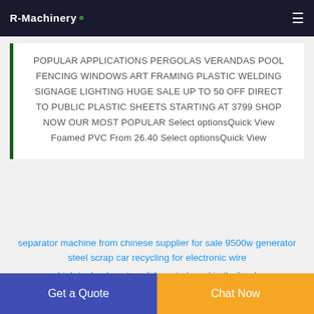R-Machinery
POPULAR APPLICATIONS PERGOLAS VERANDAS POOL FENCING WINDOWS ART FRAMING PLASTIC WELDING SIGNAGE LIGHTING HUGE SALE UP TO 50 OFF DIRECT TO PUBLIC PLASTIC SHEETS STARTING AT 3799 SHOP NOW OUR MOST POPULAR Select optionsQuick View Foamed PVC From 26.40 Select optionsQuick View
separator machine from chinese supplier for sale 9500w generator steel scrap car recycling for electronic wire
high technology to solid waste board in thailand
Get a Quote
Chat Now